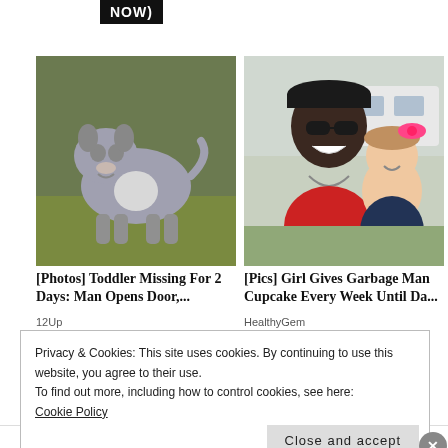[Figure (screenshot): Partial button with text 'NOW)' on black background]
[Figure (photo): Photo of a gray and white pitbull dog standing on grass]
[Photos] Toddler Missing For 2 Days: Man Opens Door,...
12Up
[Figure (photo): Photo of a man with sunglasses and a young girl with a pink bow]
[Pics] Girl Gives Garbage Man Cupcake Every Week Until Da...
HealthyGem
Privacy & Cookies: This site uses cookies. By continuing to use this website, you agree to their use.
To find out more, including how to control cookies, see here:
Cookie Policy
Close and accept
Advertisements